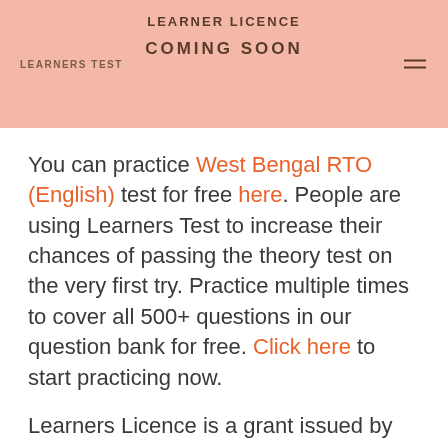LEARNER LICENCE
LEARNERS TEST
COMING SOON
You can practice West Bengal RTO (English) test for free here. People are using Learners Test to increase their chances of passing the theory test on the very first try. Practice multiple times to cover all 500+ questions in our question bank for free. Click here to start practicing now.
Learners Licence is a grant issued by